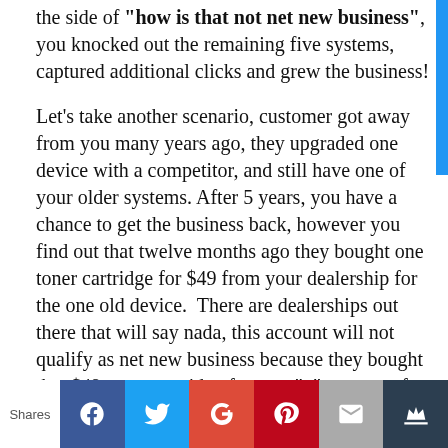the side of "how is that not net new business", you knocked out the remaining five systems, captured additional clicks and grew the business!

Let's take another scenario, customer got away from you many years ago, they upgraded one device with a competitor, and still have one of your older systems. After 5 years, you have a chance to get the business back, however you find out that twelve months ago they bought one toner cartridge for $49 from your dealership for the one old device.  There are dealerships out there that will say nada, this account will not qualify as net new business because they bought that $49 toner cartridge from us "x" amount of months ago. I don't understand this either, what part of the new hardware sale ($15K) is not net new business when you knock out the incumbents device!
Shares [Facebook] [Twitter] [Google+] [Pinterest] [Email] [Crown]